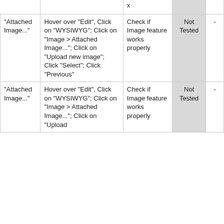| x |  |  | Not Tested | - |
| "Attached Image..." | Hover over "Edit", Click on "WYSIWYG"; Click on "Image > Attached Image..."; Click on "Upload new image"; Click "Select"; Click "Previous" | Check if Image feature works properly | Not Tested | - |
| "Attached Image..." | Hover over "Edit", Click on "WYSIWYG"; Click on "Image > Attached Image..."; Click on "Upload | Check if Image feature works properly | Not Tested | - |